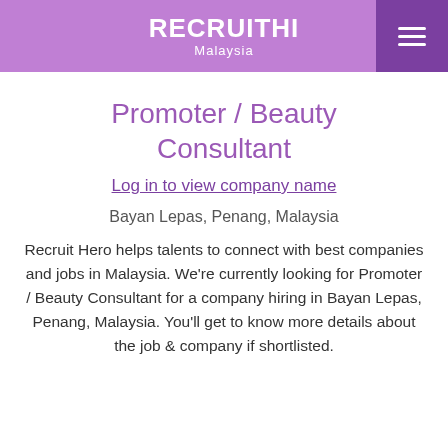RECRUITHI Malaysia
Promoter / Beauty Consultant
Log in to view company name
Bayan Lepas, Penang, Malaysia
Recruit Hero helps talents to connect with best companies and jobs in Malaysia. We're currently looking for Promoter / Beauty Consultant for a company hiring in Bayan Lepas, Penang, Malaysia. You'll get to know more details about the job & company if shortlisted.